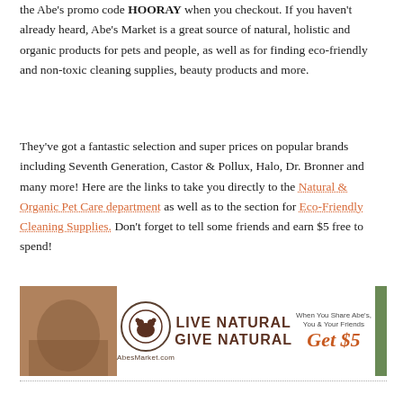the Abe's promo code HOORAY when you checkout. If you haven't already heard, Abe's Market is a great source of natural, holistic and organic products for pets and people, as well as for finding eco-friendly and non-toxic cleaning supplies, beauty products and more.
They've got a fantastic selection and super prices on popular brands including Seventh Generation, Castor & Pollux, Halo, Dr. Bronner and many more! Here are the links to take you directly to the Natural & Organic Pet Care department as well as to the section for Eco-Friendly Cleaning Supplies. Don't forget to tell some friends and earn $5 free to spend!
[Figure (infographic): Abe's Market advertisement banner reading LIVE NATURAL GIVE NATURAL with a bear logo, AbesMarket.com text, and a promotion saying When You Share Abe's, You & Your Friends Get $5, flanked by lifestyle photos]